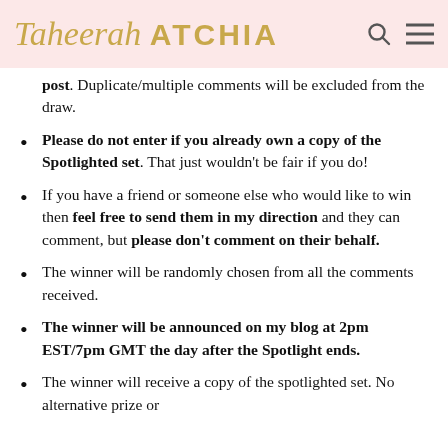Taheerah ATCHIA
post. Duplicate/multiple comments will be excluded from the draw.
Please do not enter if you already own a copy of the Spotlighted set. That just wouldn't be fair if you do!
If you have a friend or someone else who would like to win then feel free to send them in my direction and they can comment, but please don't comment on their behalf.
The winner will be randomly chosen from all the comments received.
The winner will be announced on my blog at 2pm EST/7pm GMT the day after the Spotlight ends.
The winner will receive a copy of the spotlighted set. No alternative prize or